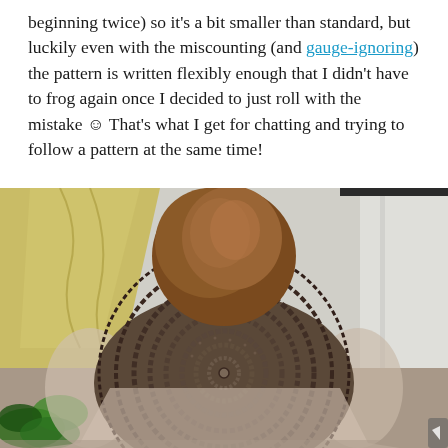beginning twice) so it's a bit smaller than standard, but luckily even with the miscounting (and gauge-ignoring) the pattern is written flexibly enough that I didn't have to frog again once I decided to just roll with the mistake ☺ That's what I get for chatting and trying to follow a pattern at the same time!
[Figure (photo): Back view of a person with short reddish-brown curly hair wearing a crocheted circular bolero/shrug vest over a light-colored long-sleeved dress. The crochet piece shows a prominent circular spiral pattern on the back. Background shows yellowish draping fabric/curtains on the left, white curtains on the right, and green plants in the lower left corner.]